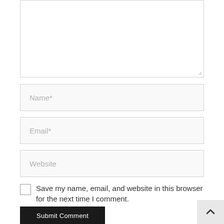[Figure (screenshot): Textarea input box (comment field), partially visible at top, with resize handle at bottom-right corner]
Name*
Email*
Website
Save my name, email, and website in this browser for the next time I comment.
Submit Comment